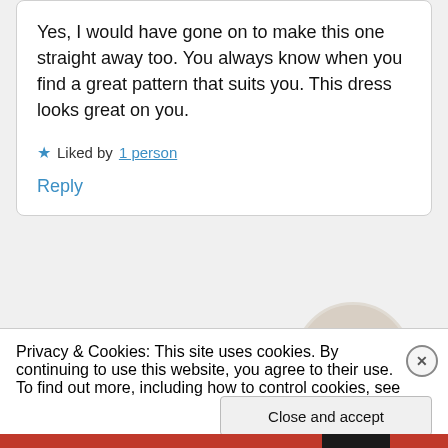Yes, I would have gone on to make this one straight away too. You always know when you find a great pattern that suits you. This dress looks great on you.
★ Liked by 1 person
Reply
[Figure (other): Apply button]
[Figure (photo): Avatar photo of a man thinking, circular crop]
Privacy & Cookies: This site uses cookies. By continuing to use this website, you agree to their use.
To find out more, including how to control cookies, see here: Cookie Policy
Close and accept